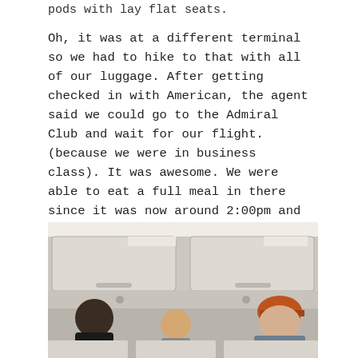pods with lay flat seats.
Oh, it was at a different terminal so we had to hike to that with all of our luggage. After getting checked in with American, the agent said we could go to the Admiral Club and wait for our flight. (because we were in business class). It was awesome. We were able to eat a full meal in there since it was now around 2:00pm and we had not eaten since before 6:15am. Then we went to our flight to enjoy the awesome seats.
[Figure (photo): Interior of an airplane cabin showing overhead storage bins and passengers seated or standing. A woman with dark hair is visible on the left, a child in the middle, and a man wearing a red cap on the right. The cabin shows white overhead bins with handles and gray wall panels.]